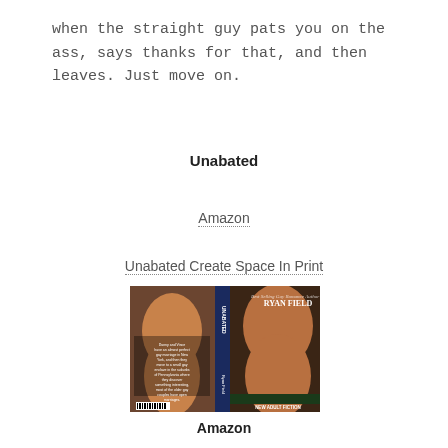when the straight guy pats you on the ass, says thanks for that, and then leaves. Just move on.
Unabated
Amazon
Unabated Create Space In Print
[Figure (photo): Book cover of 'Unabated' by Ryan Field showing two male torsos, one on the front cover and one on the back cover, with blue spine displaying the title vertically. The back cover includes a plot summary and barcode. Text 'NEW ADULT FICTION' appears at the bottom of the front cover.]
Amazon